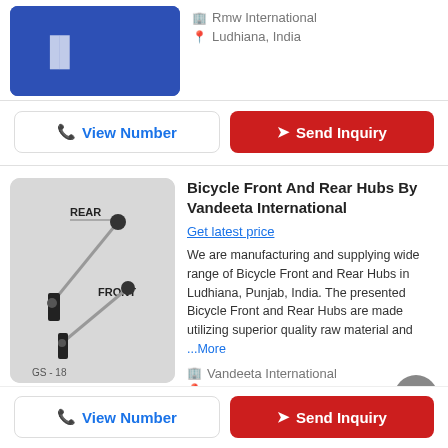[Figure (photo): Partial product image visible at top left, blue background with white product]
Rmw International
Ludhiana, India
View Number
Send Inquiry
[Figure (photo): Bicycle Front And Rear Hubs product photo showing REAR and FRONT hub components labeled, model GS-18, gray background]
Bicycle Front And Rear Hubs By Vandeeta International
Get latest price
We are manufacturing and supplying wide range of Bicycle Front and Rear Hubs in Ludhiana, Punjab, India. The presented Bicycle Front and Rear Hubs are made utilizing superior quality raw material and ...More
Vandeeta International
Ludhiana, India
5
View Number
Send Inquiry